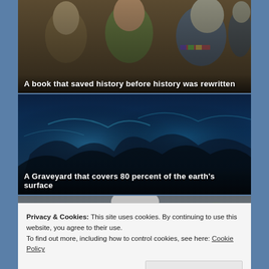[Figure (photo): Military officers in uniform, appearing to be from the Soviet era, shaking hands or interacting]
A book that saved history before history was rewritten
[Figure (photo): Dark underwater scene showing what appears to be shipwrecks or underwater formations with blue lighting]
A Graveyard that covers 80 percent of the earth's surface
[Figure (photo): Close-up portrait of a person with grey/white hair]
Privacy & Cookies: This site uses cookies. By continuing to use this website, you agree to their use.
To find out more, including how to control cookies, see here: Cookie Policy
Close and accept
[Figure (photo): Bottom strip showing warm orange/fire tones]